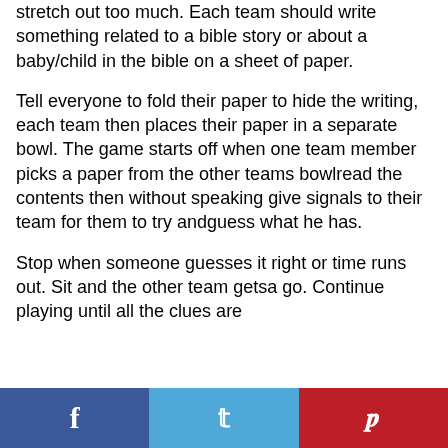stretch out too much. Each team should write something related to a bible story or about a baby/child in the bible on a sheet of paper.
Tell everyone to fold their paper to hide the writing, each team then places their paper in a separate bowl. The game starts off when one team member picks a paper from the other teams bowlread the contents then without speaking give signals to their team for them to try andguess what he has.
Stop when someone guesses it right or time runs out. Sit and the other team getsa go. Continue playing until all the clues are...
[Figure (other): Social sharing bar with Facebook (blue), Twitter (light blue), and Pinterest (red) buttons at the bottom of the page]